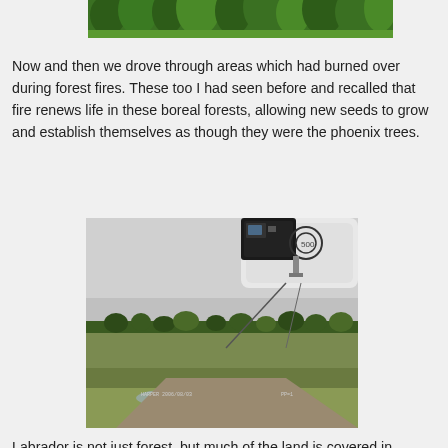[Figure (photo): Top portion of a photo showing dense green boreal forest/trees, cropped at the bottom edge of the page]
Now and then we drove through areas which had burned over during forest fires. These too I had seen before and recalled that fire renews life in these boreal forests, allowing new seeds to grow and establish themselves as though they were the phoenix trees.
[Figure (photo): A photograph taken from inside a small aircraft showing the underside of the plane wing/float with a camera or instrument mounted on it, and below, a flat open boggy landscape with sparse trees on the horizon under an overcast grey sky]
Labrador is not just forest, but much of the land is covered in